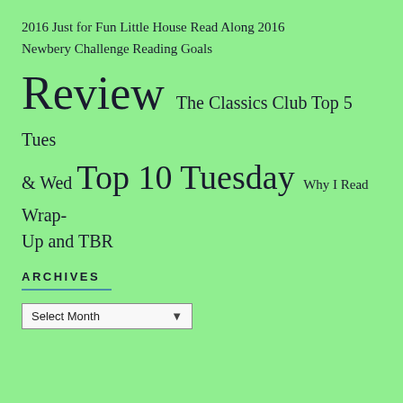2016  Just for Fun  Little House Read Along 2016  Newbery Challenge  Reading Goals  Review  The Classics Club  Top 5 Tues & Wed  Top 10 Tuesday  Why I Read  Wrap-Up and TBR
ARCHIVES
Select Month